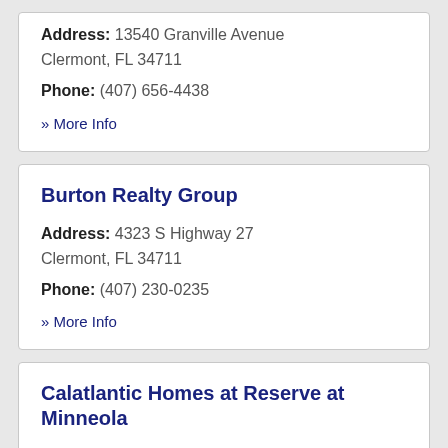Address: 13540 Granville Avenue Clermont, FL 34711
Phone: (407) 656-4438
» More Info
Burton Realty Group
Address: 4323 S Highway 27 Clermont, FL 34711
Phone: (407) 230-0235
» More Info
Calatlantic Homes at Reserve at Minneola
Address: 1020 Wax Myrtle Street